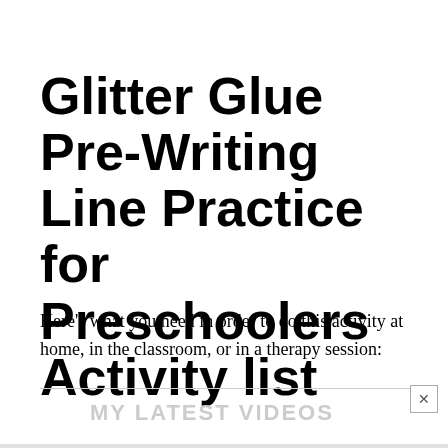Glitter Glue Pre-Writing Line Practice for Preschoolers Activity list
Here's what you need in order to do this activity at home, in the classroom, or in a therapy session:
MY LATEST VIDEOS